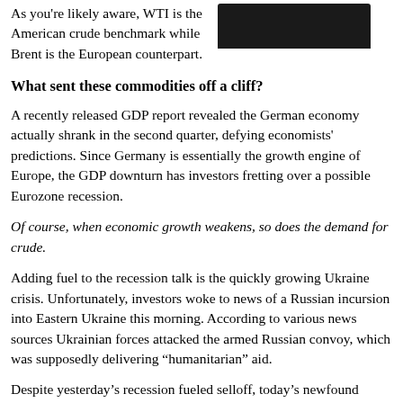As you're likely aware, WTI is the American crude benchmark while Brent is the European counterpart.
[Figure (photo): Dark circular object (oil-related imagery) on a white background, top portion visible]
What sent these commodities off a cliff?
A recently released GDP report revealed the German economy actually shrank in the second quarter, defying economists' predictions. Since Germany is essentially the growth engine of Europe, the GDP downturn has investors fretting over a possible Eurozone recession.
Of course, when economic growth weakens, so does the demand for crude.
Adding fuel to the recession talk is the quickly growing Ukraine crisis. Unfortunately, investors woke to news of a Russian incursion into Eastern Ukraine this morning. According to various news sources Ukrainian forces attacked the armed Russian convoy, which was supposedly delivering “humanitarian” aid.
Despite yesterday’s recession fueled selloff, today’s newfound geopolitical uncertainty has both WTI and Brent on the upswing. In fact, as I write, WTI is up $1.37 while Brent is up $1.35...